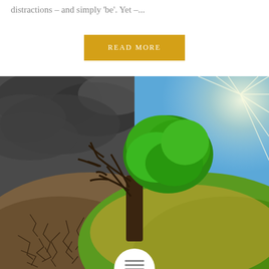distractions – and simply 'be'. Yet –...
READ MORE
[Figure (photo): A dramatic split scene: left side shows a dead, bare tree on dry, cracked earth under dark storm clouds; right side shows a lush green tree on green grass under bright blue sky with sunbeams. The tree trunk is shared between both halves.]